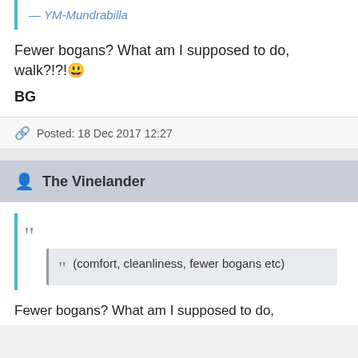— YM-Mundrabilla
Fewer bogans? What am I supposed to do, walk?!?! 😃
BG
Posted: 18 Dec 2017 12:27
The Vinelander
(comfort, cleanliness, fewer bogans etc)
Fewer bogans? What am I supposed to do,